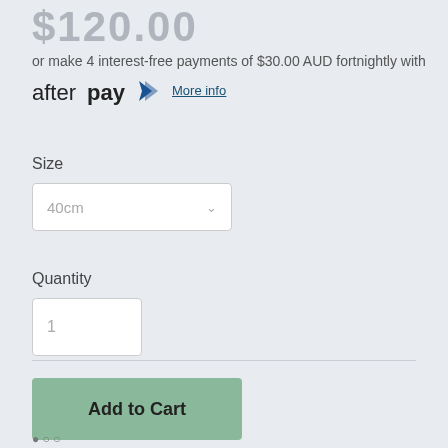$120.00
or make 4 interest-free payments of $30.00 AUD fortnightly with afterpay More info
Size
40cm
Quantity
1
Add to Cart